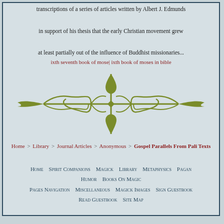transcriptions of a series of articles written by Albert J. Edmunds in support of his thesis that the early Christian movement grew at least partially out of the influence of Buddhist missionaries...
ixth seventh book of mose| ixth book of moses in bible
[Figure (illustration): Decorative olive-green ornamental divider with scrollwork and fleur-de-lis style design, symmetrical, horizontal]
Home > Library > Journal Articles > Anonymous > Gospel Parallels From Pali Texts
Home   Spirit Companions   Magick   Library   Metaphysics   Pagan   Humor   Books On Magic
Pages Navigation   Miscellaneous   Magick Images   Sign Guestbook   Read Guestbook   Site Map